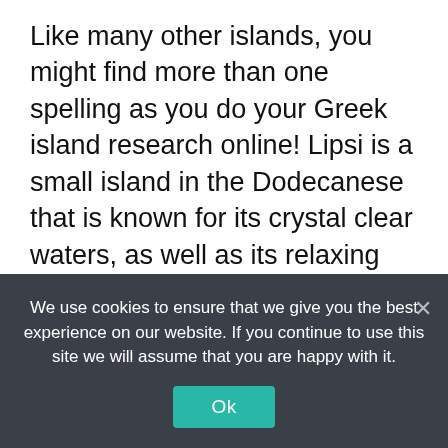Like many other islands, you might find more than one spelling as you do your Greek island research online! Lipsi is a small island in the Dodecanese that is known for its crystal clear waters, as well as its relaxing atmosphere. The island has a population of just over 700 people, and still retains much of its traditional charm
Leros
With a wild landscape, Leros is located
We use cookies to ensure that we give you the best experience on our website. If you continue to use this site we will assume that you are happy with it.